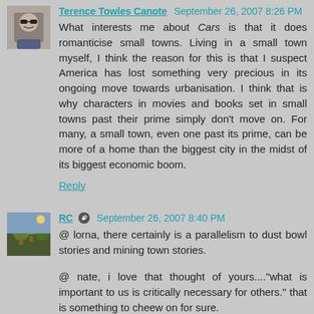Terence Towles Canote  September 26, 2007 8:26 PM
What interests me about Cars is that it does romanticise small towns. Living in a small town myself, I think the reason for this is that I suspect America has lost something very precious in its ongoing move towards urbanisation. I think that is why characters in movies and books set in small towns past their prime simply don't move on. For many, a small town, even one past its prime, can be more of a home than the biggest city in the midst of its biggest economic boom.
Reply
RC  September 26, 2007 8:40 PM
@ lorna, there certainly is a parallelism to dust bowl stories and mining town stories.
@ nate, i love that thought of yours...."what is important to us is critically necessary for others." that is something to cheew on for sure.
@ mercurio, i think you're right, the home-iness factor...